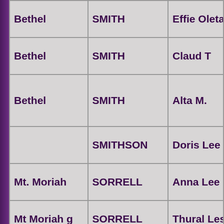| Cemetery | Last Name | First Name |
| --- | --- | --- |
| Bethel | SMITH | Effie Oleta |
| Bethel | SMITH | Claud T |
| Bethel | SMITH | Alta M. |
|  | SMITHSON | Doris Lee Kr... |
| Mt. Moriah | SORRELL | Anna Lee |
| Mt Moriah g | SORRELL | Thural Leste... |
| Antioch | SPEARS | Tammie |
| Antioch | SPRADLIN | A'Gatha |
| Antioch | SPRADLIN | Dwayne |